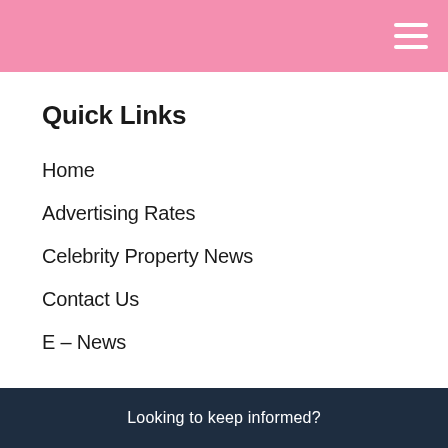Quick Links
Home
Advertising Rates
Celebrity Property News
Contact Us
E – News
Contact
Phone: 06 392 0100
[Figure (illustration): Green circular chat/message button icon]
[Figure (illustration): Back to Top button with blue paint splash and red accent]
Looking to keep informed?